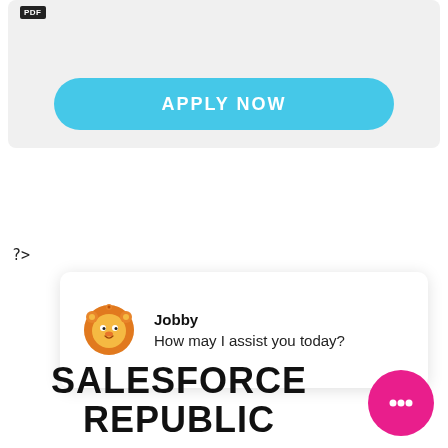[Figure (screenshot): A card with a light gray background containing a cyan/blue 'APPLY NOW' button with rounded corners and a small PDF badge in the top-left corner.]
?>
[Figure (screenshot): A chat widget card showing a lion mascot icon labeled 'Jobby' with the message 'How may I assist you today?']
SALESFORCE REPUBLIC